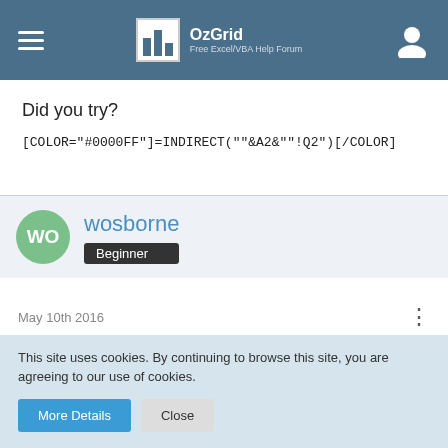OzGrid - Free Excel/VBA Help Forum
Did you try?
[COLOR="#0000FF"]=INDIRECT(""&A2&""!Q2")[/COLOR]
wosborne
Beginner
May 10th 2016
Re: Vlookup using tabs with specific cell reference
This site uses cookies. By continuing to browse this site, you are agreeing to our use of cookies.